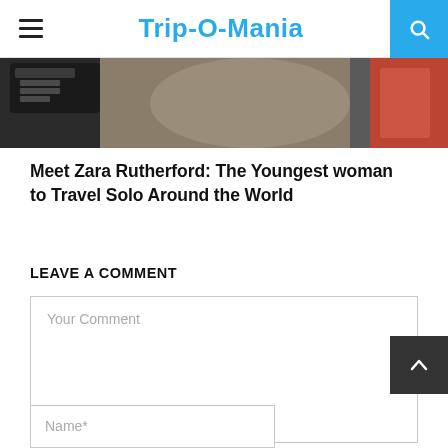Trip-O-Mania
[Figure (photo): Partial photo of a person traveling, showing luggage and clothing in dark tones with red accent]
Meet Zara Rutherford: The Youngest woman to Travel Solo Around the World
LEAVE A COMMENT
Your Comment
Name*